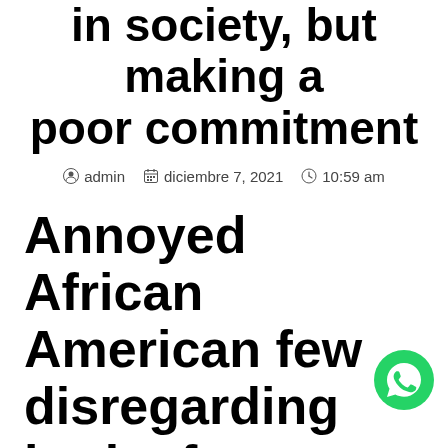in society, but making a poor commitment
admin   diciembre 7, 2021   10:59 am
Annoyed African American few disregarding both after a combat
is truly more difficult than it sounds. While your